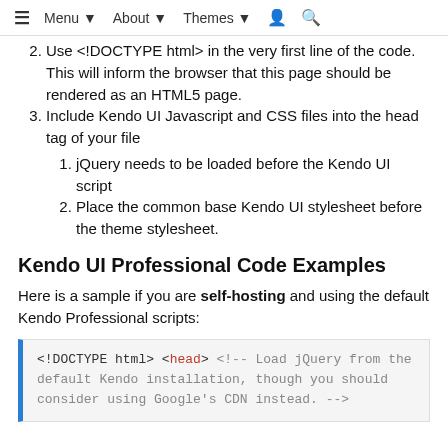≡ Menu ▼  About ▼  Themes ▼  👤  🔍
2. Use <!DOCTYPE html> in the very first line of the code. This will inform the browser that this page should be rendered as an HTML5 page.
3. Include Kendo UI Javascript and CSS files into the head tag of your file
1. jQuery needs to be loaded before the Kendo UI script
2. Place the common base Kendo UI stylesheet before the theme stylesheet.
Kendo UI Professional Code Examples
Here is a sample if you are self-hosting and using the default Kendo Professional scripts:
<!DOCTYPE html>
<head>
<!-- Load jQuery from the default Kendo installation, though you should consider using Google's CDN instead. -->